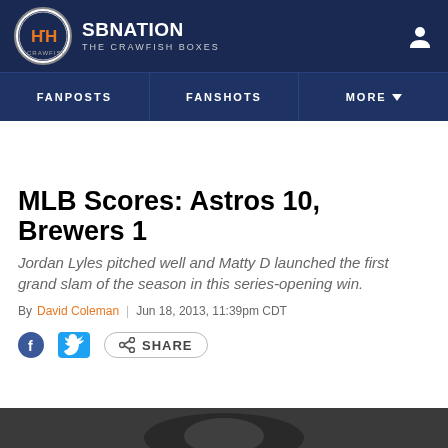SBNATION THE CRAWFISH BOXES
FANPOSTS | FANSHOTS | MORE
MLB Scores: Astros 10, Brewers 1
Jordan Lyles pitched well and Matty D launched the first grand slam of the season in this series-opening win.
By David Coleman | Jun 18, 2013, 11:39pm CDT
SHARE